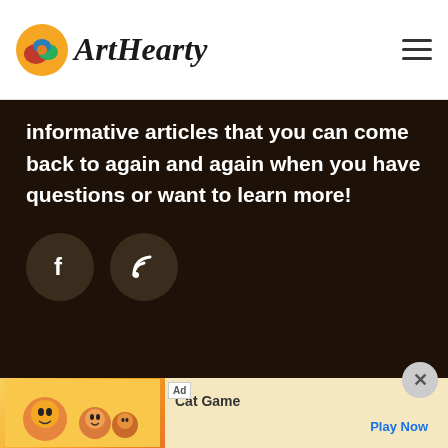ArtHearty
informative articles that you can come back to again and again when you have questions or want to learn more!
[Figure (other): Facebook and RSS social media icon buttons, circular dark brown buttons with white icons]
Copyright © Art Hearty & Buzzle.com, Inc. 6789 Quail Hill Pkwy, Suite 211 Irvine CA 92603 Privacy Policy Terms of Use Contact Us
[Figure (screenshot): Ad banner for Cat Game with cartoon cat characters and Play Now button]